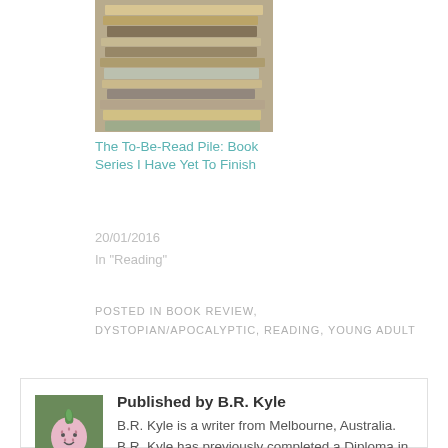[Figure (photo): Stack of books photograph]
The To-Be-Read Pile: Book Series I Have Yet To Finish
20/01/2016
In "Reading"
POSTED IN BOOK REVIEW, DYSTOPIAN/APOCALYPTIC, READING, YOUNG ADULT
[Figure (photo): Author avatar: pink knitted strawberry character on green background]
Published by B.R. Kyle
B.R. Kyle is a writer from Melbourne, Australia. B.R. Kyle has previously completed a Diploma in Professional Writing and Editing and